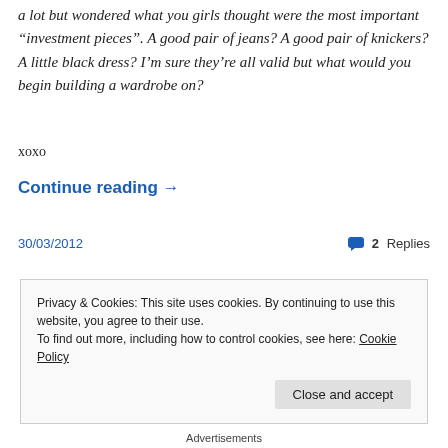a lot but wondered what you girls thought were the most important “investment pieces”. A good pair of jeans? A good pair of knickers? A little black dress? I’m sure they’re all valid but what would you begin building a wardrobe on?
xoxo
Continue reading →
30/03/2012
2 Replies
Privacy & Cookies: This site uses cookies. By continuing to use this website, you agree to their use.
To find out more, including how to control cookies, see here: Cookie Policy
Close and accept
Advertisements